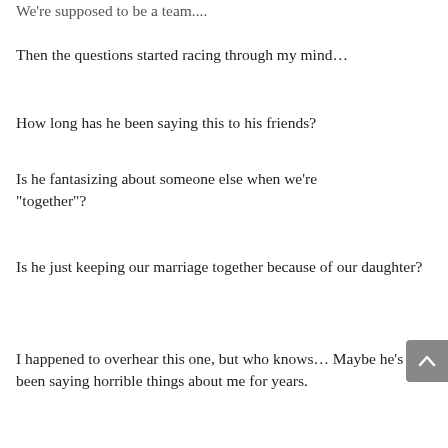We're supposed to be a team....
Then the questions started racing through my mind…
How long has he been saying this to his friends?
Is he fantasizing about someone else when we're “together”?
Is he just keeping our marriage together because of our daughter?
I happened to overhear this one, but who knows… Maybe he’s been saying horrible things about me for years.